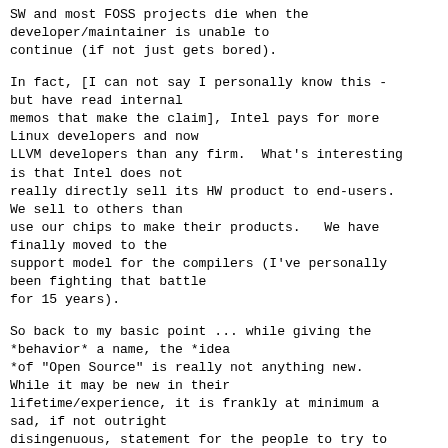SW and most FOSS projects die when the developer/maintainer is unable to continue (if not just gets bored).
In fact, [I can not say I personally know this - but have read internal memos that make the claim], Intel pays for more Linux developers and now LLVM developers than any firm.  What's interesting is that Intel does not really directly sell its HW product to end-users. We sell to others than use our chips to make their products.   We have finally moved to the support model for the compilers (I've personally been fighting that battle for 15 years).
So back to my basic point ... while giving the *behavior* a name, the *idea *of "Open Source" is really not anything new. While it may be new in their lifetime/experience, it is frankly at minimum a sad, if not outright disingenuous, statement for the people to try to imply otherwise because they are unwilling to look back into history and understand, much less accept it as a fact.  Trying to rewrite history is just not pretty to